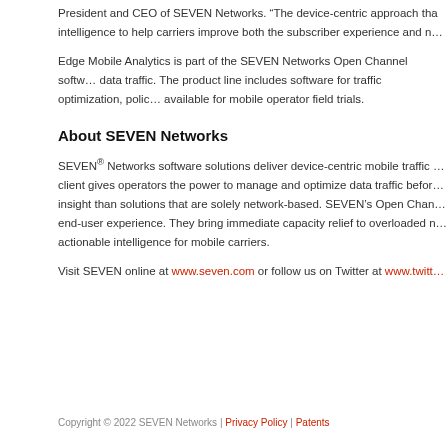President and CEO of SEVEN Networks. “The device-centric approach that intelligence to help carriers improve both the subscriber experience and n…
Edge Mobile Analytics is part of the SEVEN Networks Open Channel softw… data traffic. The product line includes software for traffic optimization, polic… available for mobile operator field trials.
About SEVEN Networks
SEVEN® Networks software solutions deliver device-centric mobile traffic … client gives operators the power to manage and optimize data traffic befor… insight than solutions that are solely network-based. SEVEN’s Open Chan… end-user experience. They bring immediate capacity relief to overloaded n… actionable intelligence for mobile carriers.
Visit SEVEN online at www.seven.com or follow us on Twitter at www.twitt…
Copyright © 2022 SEVEN Networks | Privacy Policy | Patents